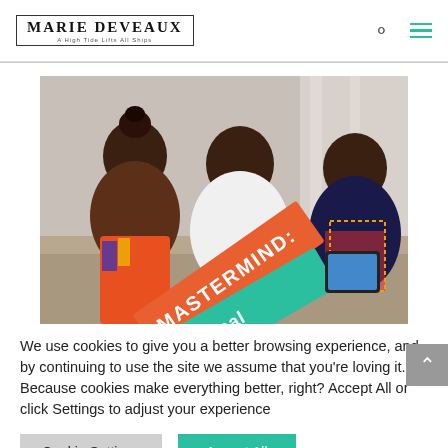MARIE DEVEAUX — A High Tide Lifts All Ships
[Figure (photo): Three Black women sitting together in discussion, holding signs that read MASTERMIND with colorful banners (orange and teal).]
We use cookies to give you a better browsing experience, and by continuing to use the site we assume that you're loving it. Because cookies make everything better, right? Accept All or click Settings to adjust your experience
Cookie Settings   Accept All